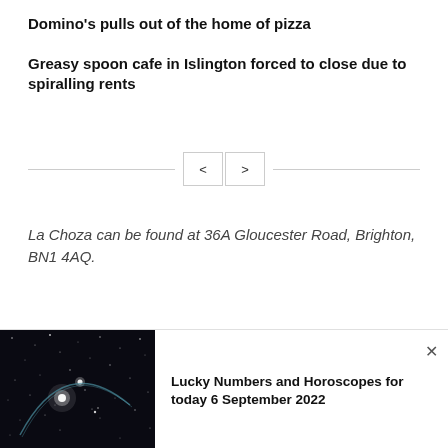Domino's pulls out of the home of pizza
Greasy spoon cafe in Islington forced to close due to spiralling rents
La Choza can be found at 36A Gloucester Road, Brighton, BN1 4AQ.
[Figure (photo): Night sky photograph showing bright stars and a faint arc of light against a dark background]
Lucky Numbers and Horoscopes for today 6 September 2022